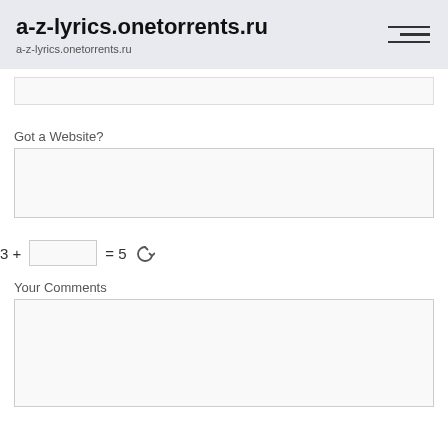a-z-lyrics.onetorrents.ru
a-z-lyrics.onetorrents.ru
Got a Website?
3 +  = 5
Your Comments